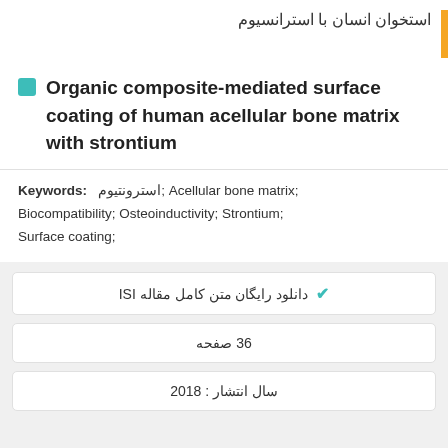استخوان انسان با استرانسیوم
Organic composite-mediated surface coating of human acellular bone matrix with strontium
Keywords: استرونتیوم; Acellular bone matrix; Biocompatibility; Osteoinductivity; Strontium; Surface coating;
دانلود رایگان متن کامل مقاله ISI
36 صفحه
سال انتشار : 2018